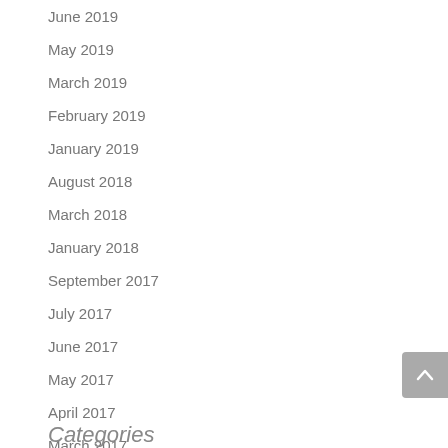June 2019
May 2019
March 2019
February 2019
January 2019
August 2018
March 2018
January 2018
September 2017
July 2017
June 2017
May 2017
April 2017
March 2017
Categories